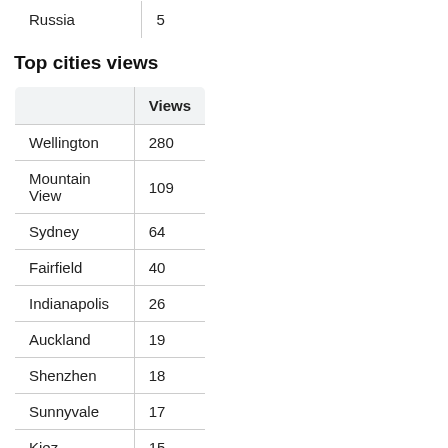|  |  |
| --- | --- |
| Russia | 5 |
Top cities views
|  | Views |
| --- | --- |
| Wellington | 280 |
| Mountain View | 109 |
| Sydney | 64 |
| Fairfield | 40 |
| Indianapolis | 26 |
| Auckland | 19 |
| Shenzhen | 18 |
| Sunnyvale | 17 |
| Kiez | 15 |
| Norwalk | 13 |